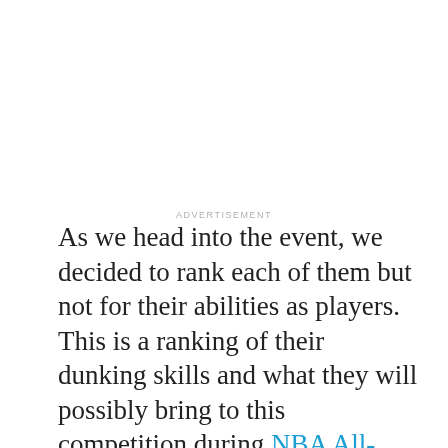ADVERTISEMENT
As we head into the event, we decided to rank each of them but not for their abilities as players. This is a ranking of their dunking skills and what they will possibly bring to this competition during NBA All-Star Weekend.
We based the criteria on their athleticism and how many times they have dunked this season. We also looked at their dunking resume, whether that be in past slam dunk competitions or through various jams that have gone viral on the internet